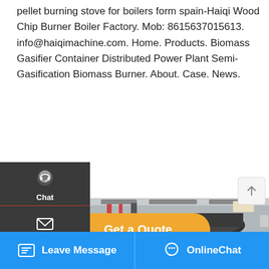pellet burning stove for boilers form spain-Haiqi Wood Chip Burner Boiler Factory. Mob: 8615637015613. info@haiqimachine.com. Home. Products. Biomass Gasifier Container Distributed Power Plant Semi-Gasification Biomass Burner. About. Case. News.
[Figure (screenshot): Website UI with left sidebar showing Chat, Email, Contact icons; a yellow Get a Quote button; a scroll-to-top button; a photo of industrial boiler equipment; a WhatsApp sticker overlay; and a blue bottom bar with Leave Message and OnlineChat options.]